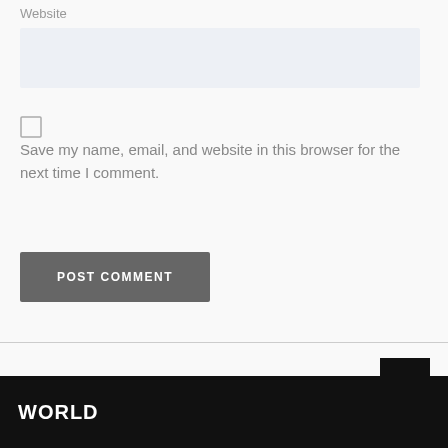Website
[Figure (other): Website input text field with light blue-grey background]
[Figure (other): Unchecked checkbox]
Save my name, email, and website in this browser for the next time I comment.
POST COMMENT
WORLD